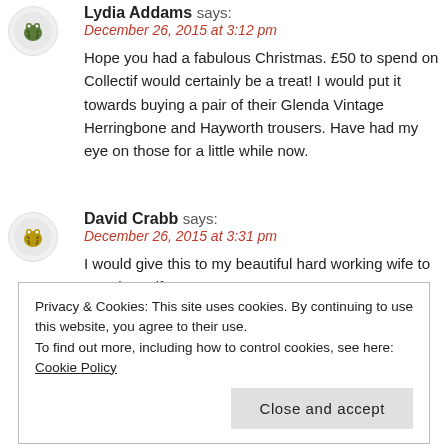Lydia Addams says:
December 26, 2015 at 3:12 pm
Hope you had a fabulous Christmas. £50 to spend on Collectif would certainly be a treat! I would put it towards buying a pair of their Glenda Vintage Herringbone and Hayworth trousers. Have had my eye on those for a little while now.
David Crabb says:
December 26, 2015 at 3:31 pm
I would give this to my beautiful hard working wife to treat herself.
Privacy & Cookies: This site uses cookies. By continuing to use this website, you agree to their use.
To find out more, including how to control cookies, see here: Cookie Policy
Close and accept